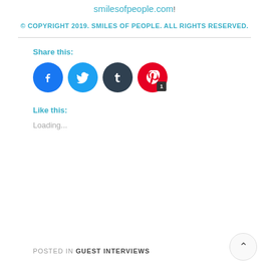smilesofpeople.com!
© COPYRIGHT 2019. SMILES OF PEOPLE. ALL RIGHTS RESERVED.
Share this:
[Figure (infographic): Four social media share buttons: Facebook (blue), Twitter (light blue), Tumblr (dark), Pinterest (red) with a badge showing '1']
Like this:
Loading...
POSTED IN GUEST INTERVIEWS